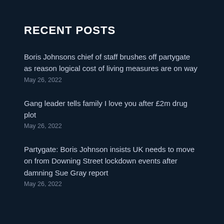RECENT POSTS
Boris Johnsons chief of staff brushes off partygate as reason logical cost of living measures are on way
May 26, 2022
Gang leader tells family I love you after £2m drug plot
May 26, 2022
Partygate: Boris Johnson insists UK needs to move on from Downing Street lockdown events after damning Sue Gray report
May 26, 2022